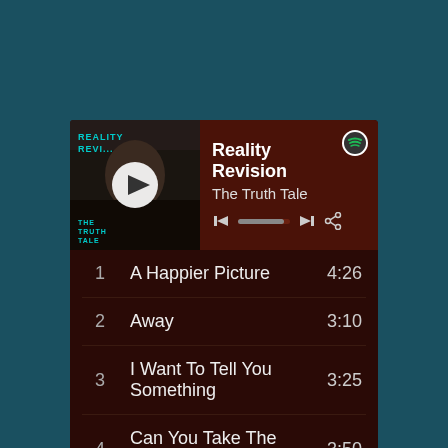[Figure (screenshot): Spotify music player card showing album 'Reality Revision' by The Truth Tale with a tracklist of 8 songs on a teal background.]
Reality Revision
The Truth Tale
| # | Title | Duration |
| --- | --- | --- |
| 1 | A Happier Picture | 4:26 |
| 2 | Away | 3:10 |
| 3 | I Want To Tell You Something | 3:25 |
| 4 | Can You Take The Dog? | 3:50 |
| 5 | Million Miles From Reality | 3:35 |
| 6 | Angels Get Wings | 3:01 |
| 7 | You're My Angel Girl (Instrume... | 4:05 |
| 8 | My Oh My Need Summertime | 3:32 |